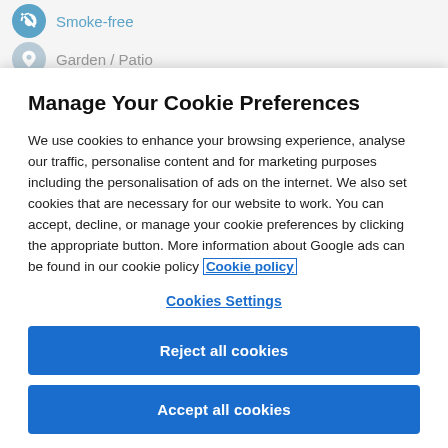Smoke-free
Garden / Patio
Manage Your Cookie Preferences
We use cookies to enhance your browsing experience, analyse our traffic, personalise content and for marketing purposes including the personalisation of ads on the internet. We also set cookies that are necessary for our website to work. You can accept, decline, or manage your cookie preferences by clicking the appropriate button. More information about Google ads can be found in our cookie policy Cookie policy
Cookies Settings
Reject all cookies
Accept all cookies